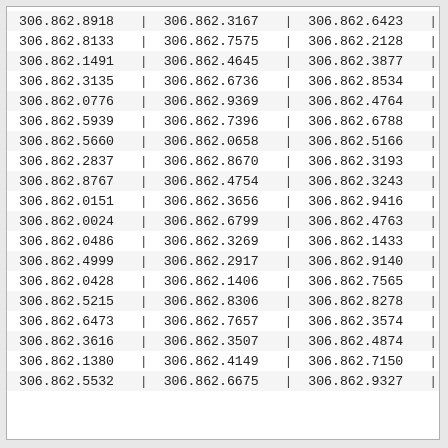| 306.862.8918 | | | 306.862.3167 | | | 306.862.6423 | | |
| 306.862.8133 | | | 306.862.7575 | | | 306.862.2128 | | |
| 306.862.1491 | | | 306.862.4645 | | | 306.862.3877 | | |
| 306.862.3135 | | | 306.862.6736 | | | 306.862.8534 | | |
| 306.862.0776 | | | 306.862.9369 | | | 306.862.4764 | | |
| 306.862.5939 | | | 306.862.7396 | | | 306.862.6788 | | |
| 306.862.5660 | | | 306.862.0658 | | | 306.862.5166 | | |
| 306.862.2837 | | | 306.862.8670 | | | 306.862.3193 | | |
| 306.862.8767 | | | 306.862.4754 | | | 306.862.3243 | | |
| 306.862.0151 | | | 306.862.3656 | | | 306.862.9416 | | |
| 306.862.0024 | | | 306.862.6799 | | | 306.862.4763 | | |
| 306.862.0486 | | | 306.862.3269 | | | 306.862.1433 | | |
| 306.862.4999 | | | 306.862.2917 | | | 306.862.9140 | | |
| 306.862.0428 | | | 306.862.1406 | | | 306.862.7565 | | |
| 306.862.5215 | | | 306.862.8306 | | | 306.862.8278 | | |
| 306.862.6473 | | | 306.862.7657 | | | 306.862.3574 | | |
| 306.862.3616 | | | 306.862.3507 | | | 306.862.4874 | | |
| 306.862.1380 | | | 306.862.4149 | | | 306.862.7150 | | |
| 306.862.5532 | | | 306.862.6675 | | | 306.862.9327 | | |